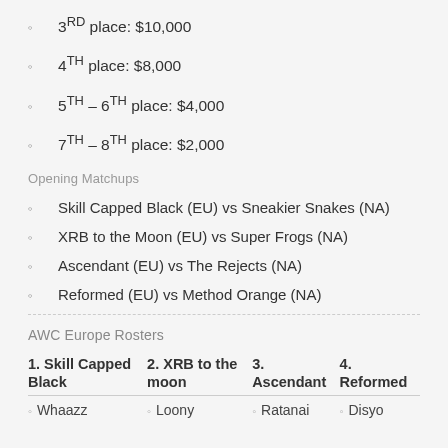3RD place: $10,000
4TH place: $8,000
5TH – 6TH place: $4,000
7TH – 8TH place: $2,000
Opening Matchups
Skill Capped Black (EU) vs Sneakier Snakes (NA)
XRB to the Moon (EU) vs Super Frogs (NA)
Ascendant (EU) vs The Rejects (NA)
Reformed (EU) vs Method Orange (NA)
AWC Europe Rosters
| 1. Skill Capped Black | 2. XRB to the moon | 3. Ascendant | 4. Reformed |
| --- | --- | --- | --- |
| Whaazz | Loony | Ratanai | Disyo |